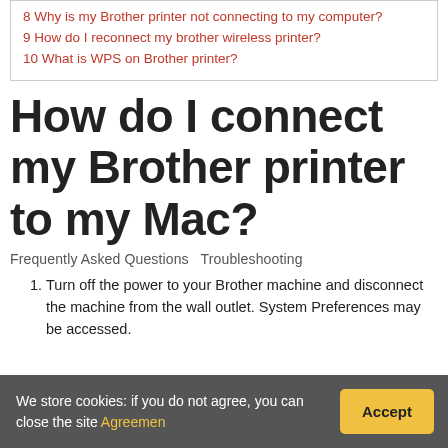8 Why is my Brother printer not connecting to my computer?
9 How do I reconnect my brother wireless printer?
10 What is WPS on Brother printer?
How do I connect my Brother printer to my Mac?
Frequently Asked Questions  Troubleshooting
1. Turn off the power to your Brother machine and disconnect the machine from the wall outlet. System Preferences may be accessed.
We store cookies: if you do not agree, you can close the site  Agreement